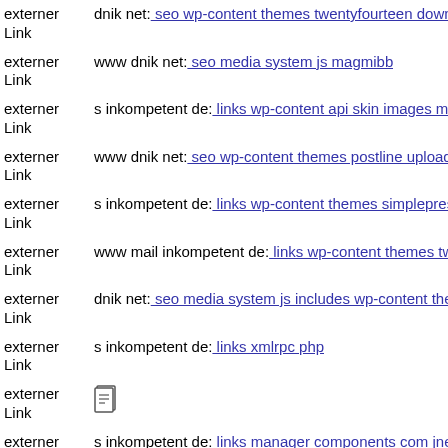externer Link | dnik net: seo wp-content themes twentyfourteen downloade...
externer Link | www dnik net: seo media system js magmibb
externer Link | s inkompetent de: links wp-content api skin images mail ink...
externer Link | www dnik net: seo wp-content themes postline uploads xatt...
externer Link | s inkompetent de: links wp-content themes simplepress js m...
externer Link | www mail inkompetent de: links wp-content themes twenty...
externer Link | dnik net: seo media system js includes wp-content themes g...
externer Link | s inkompetent de: links xmlrpc php
externer Link | [icon]
externer Link | s inkompetent de: links manager components com jnewslett...
externer Link | s inkompetent de: links wp-content api mambots editors jce...
externer Link | ...